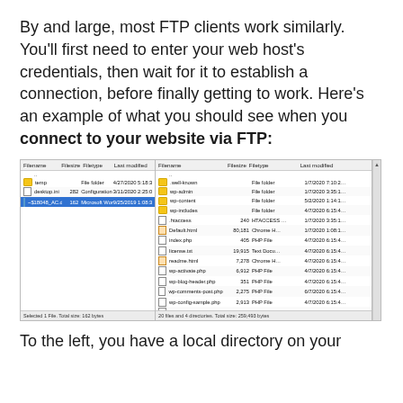By and large, most FTP clients work similarly. You'll first need to enter your web host's credentials, then wait for it to establish a connection, before finally getting to work. Here's an example of what you should see when you connect to your website via FTP:
[Figure (screenshot): FTP client window showing two panes: left pane is local directory with files temp (folder), desktop.ini, ~$18048_AC.docx; right pane is remote directory with WordPress installation files including .well-known, wp-admin, wp-content, wp-includes folders and various PHP and other files. Status bars show 'Selected 1 File. Total size: 162 bytes' and '20 files and 4 directories. Total size: 259,493 bytes'.]
To the left, you have a local directory on your